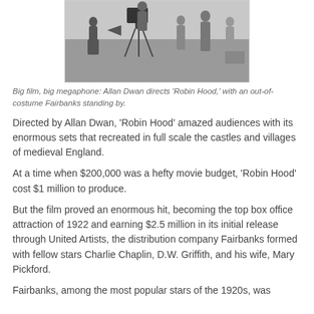[Figure (photo): Black and white photograph of Allan Dwan directing 'Robin Hood' with a large camera on a tripod, and Douglas Fairbanks standing by out of costume, on an outdoor film set.]
Big film, big megaphone: Allan Dwan directs 'Robin Hood,' with an out-of-costume Fairbanks standing by.
Directed by Allan Dwan, 'Robin Hood' amazed audiences with its enormous sets that recreated in full scale the castles and villages of medieval England.
At a time when $200,000 was a hefty movie budget, 'Robin Hood' cost $1 million to produce.
But the film proved an enormous hit, becoming the top box office attraction of 1922 and earning $2.5 million in its initial release through United Artists, the distribution company Fairbanks formed with fellow stars Charlie Chaplin, D.W. Griffith, and his wife, Mary Pickford.
Fairbanks, among the most popular stars of the 1920s, was